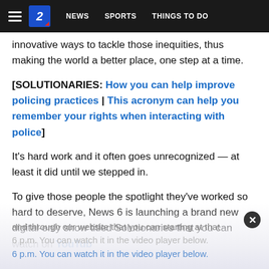NEWS | SPORTS | THINGS TO DO
innovative ways to tackle those inequities, thus making the world a better place, one step at a time.
[SOLUTIONARIES: How you can help improve policing practices | This acronym can help you remember your rights when interacting with police]
It's hard work and it often goes unrecognized — at least it did until we stepped in.
To give those people the spotlight they've worked so hard to deserve, News 6 is launching a brand new digital-only show titled Solutionaries that you can watch on YouTube